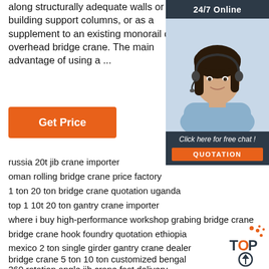along structurally adequate walls or building support columns, or as a supplement to an existing monorail or overhead bridge crane. The main advantage of using a ...
[Figure (other): Orange 'Get Price' button]
[Figure (photo): Sidebar with '24/7 Online' header, photo of customer service representative with headset, 'Click here for free chat!' text, and orange QUOTATION button on dark background]
russia 20t jib crane importer
oman rolling bridge crane price factory
1 ton 20 ton bridge crane quotation uganda
top 1 10t 20 ton gantry crane importer
where i buy high-performance workshop grabing bridge crane
bridge crane hook foundry quotation ethiopia
mexico 2 ton single girder gantry crane dealer
bridge crane 5 ton 10 ton customized bengal
360 rotation angle jib crane fast delivery